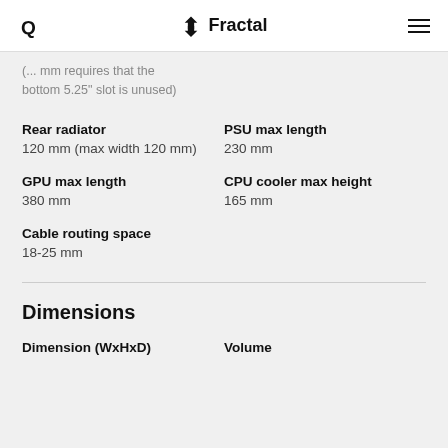Fractal
(... mm requires that the bottom 5.25" slot is unused)
Rear radiator
120 mm (max width 120 mm)
PSU max length
230 mm
GPU max length
380 mm
CPU cooler max height
165 mm
Cable routing space
18-25 mm
Dimensions
Dimension (WxHxD)
Volume